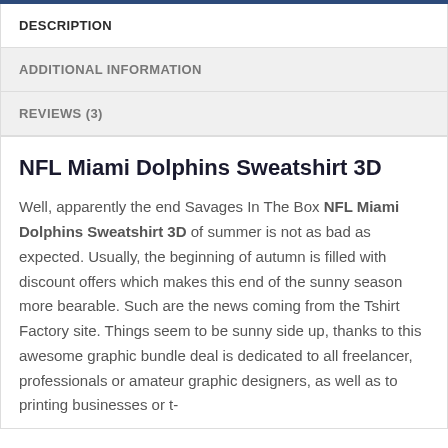DESCRIPTION
ADDITIONAL INFORMATION
REVIEWS (3)
NFL Miami Dolphins Sweatshirt 3D
Well, apparently the end Savages In The Box NFL Miami Dolphins Sweatshirt 3D of summer is not as bad as expected. Usually, the beginning of autumn is filled with discount offers which makes this end of the sunny season more bearable. Such are the news coming from the Tshirt Factory site. Things seem to be sunny side up, thanks to this awesome graphic bundle deal is dedicated to all freelancer, professionals or amateur graphic designers, as well as to printing businesses or t-